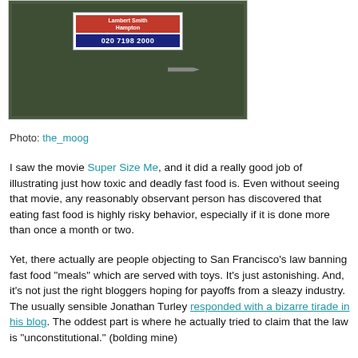[Figure (photo): Photograph of a real estate sign on a dark green door/wall. The sign has a red section reading 'Lambert Smith Hampton' and a dark blue section reading '020 7198 2000'. A spike/nail is visible on the right side of the sign.]
Photo: the_moog
I saw the movie Super Size Me, and it did a really good job of illustrating just how toxic and deadly fast food is. Even without seeing that movie, any reasonably observant person has discovered that eating fast food is highly risky behavior, especially if it is done more than once a month or two.
Yet, there actually are people objecting to San Francisco's law banning fast food "meals" which are served with toys. It's just astonishing. And, it's not just the right bloggers hoping for payoffs from a sleazy industry. The usually sensible Jonathan Turley responded with a bizarre tirade in his blog. The oddest part is where he actually tried to claim that the law is "unconstitutional." (bolding mine)